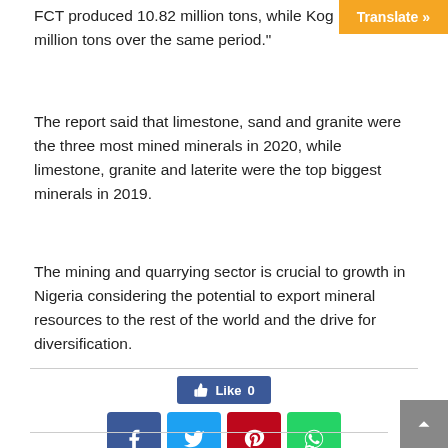FCT produced 10.82 million tons, while Kog... million tons over the same period."
The report said that limestone, sand and granite were the three most mined minerals in 2020, while limestone, granite and laterite were the top biggest minerals in 2019.
The mining and quarrying sector is crucial to growth in Nigeria considering the potential to export mineral resources to the rest of the world and the drive for diversification.
[Figure (other): Social sharing buttons: Facebook Like button showing 0 likes, and four social media share icons for Facebook, Twitter, Pinterest, and WhatsApp]
[Figure (other): Back to top button in dark grey in bottom right corner]